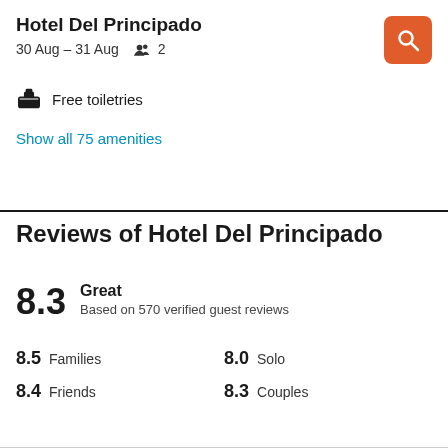Hotel Del Principado
30 Aug – 31 Aug  👥 2
Free toiletries
Show all 75 amenities
Reviews of Hotel Del Principado
8.3  Great
Based on 570 verified guest reviews
8.5  Families    8.0  Solo
8.4  Friends    8.3  Couples